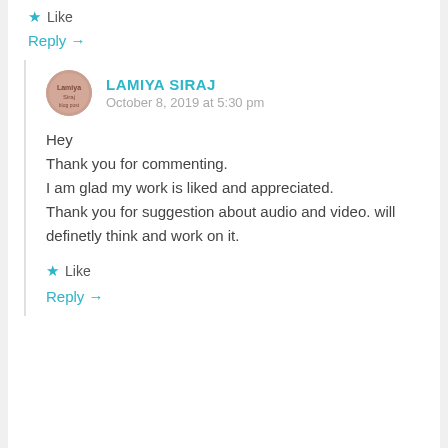★ Like
Reply →
[Figure (illustration): Circular avatar image for Lamiya Siraj, pinkish-brown tone with logo]
LAMIYA SIRAJ
October 8, 2019 at 5:30 pm
Hey
Thank you for commenting.
I am glad my work is liked and appreciated.
Thank you for suggestion about audio and video. will definetly think and work on it.
★ Like
Reply →